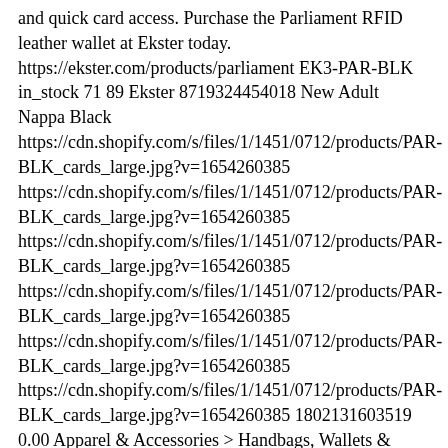and quick card access. Purchase the Parliament RFID leather wallet at Ekster today. https://ekster.com/products/parliament EK3-PAR-BLK in_stock 71 89 Ekster 8719324454018 New Adult Nappa Black https://cdn.shopify.com/s/files/1/1451/0712/products/PAR-BLK_cards_large.jpg?v=1654260385 https://cdn.shopify.com/s/files/1/1451/0712/products/PAR-BLK_cards_large.jpg?v=1654260385 https://cdn.shopify.com/s/files/1/1451/0712/products/PAR-BLK_cards_large.jpg?v=1654260385 https://cdn.shopify.com/s/files/1/1451/0712/products/PAR-BLK_cards_large.jpg?v=1654260385 https://cdn.shopify.com/s/files/1/1451/0712/products/PAR-BLK_cards_large.jpg?v=1654260385 https://cdn.shopify.com/s/files/1/1451/0712/products/PAR-BLK_cards_large.jpg?v=1654260385 1802131603519 0.00 Apparel & Accessories > Handbags, Wallets & Cases > Wallets & Money Clips Wallets Male Leather, Aluminum USD $ 30112041500735 Ekster® | Parliament Wallet | Get a Leather RFID Blocking Wallet Buy a RFID blocking wallet online at Ekster. Our Parliament wallet is a premium leather smart wallet, perfect for slim storage and quick card access. Purchase the Parliament RFID leather wallet at Ekster today. https://ekster.com/products/parliament EK3-PAR-COG in_stock 71 89 Ekster 8719324454049 New Adult Roma Cognac https://cdn.shopify.com/s/files/1/1451/0712/products/PAR-